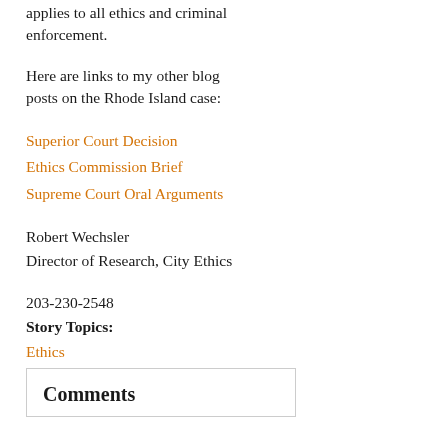applies to all ethics and criminal enforcement.
Here are links to my other blog posts on the Rhode Island case:
Superior Court Decision
Ethics Commission Brief
Supreme Court Oral Arguments
Robert Wechsler
Director of Research, City Ethics
203-230-2548
Story Topics: Ethics Commissions/Administration, Legislative Immunity, In the news
Comments